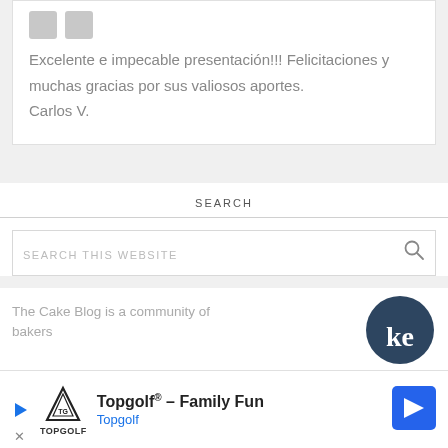Excelente e impecable presentación!!! Felicitaciones y muchas gracias por sus valiosos aportes.
Carlos V.
SEARCH
SEARCH THIS WEBSITE
The Cake Blog is a community of bakers
[Figure (logo): Circular dark blue logo partially visible at bottom right]
[Figure (infographic): Topgolf advertisement banner: Topgolf® - Family Fun, Topgolf logo with triangle, blue navigation arrow icon, play/close controls]